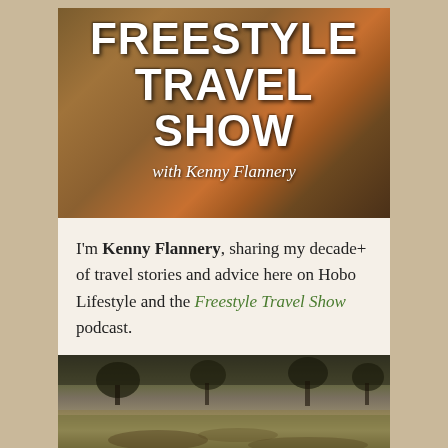[Figure (photo): Freestyle Travel Show podcast banner with rustic brown background and person with guitar, white bold text reading FREESTYLE TRAVEL SHOW with Kenny Flannery subtitle]
I'm Kenny Flannery, sharing my decade+ of travel stories and advice here on Hobo Lifestyle and the Freestyle Travel Show podcast.
[Figure (photo): Outdoor landscape photo showing sparse trees and grassy ground, low-light brownish-green tones]